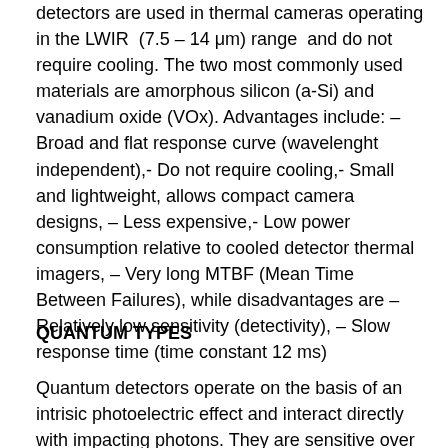detectors are used in thermal cameras operating in the LWIR (7.5 – 14 μm) range and do not require cooling. The two most commonly used materials are amorphous silicon (a-Si) and vanadium oxide (VOx). Advantages include: – Broad and flat response curve (wavelenght independent),- Do not require cooling,- Small and lightweight, allows compact camera designs, – Less expensive,- Low power consumption relative to cooled detector thermal imagers, – Very long MTBF (Mean Time Between Failures), while disadvantages are – Relatively low sensitivity (detectivity), – Slow response time (time constant 12 ms)
QUANTUM TYPES
Quantum detectors operate on the basis of an intrisic photoelectric effect and interact directly with impacting photons. They are sensitive over a (Typically limited...